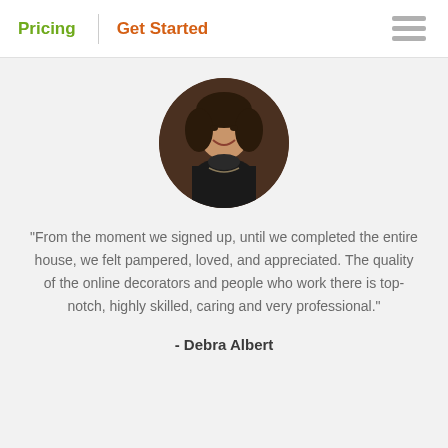Pricing | Get Started
[Figure (photo): Circular profile photo of a woman smiling, with dark hair, wearing a dark turtleneck and necklace]
“From the moment we signed up, until we completed the entire house, we felt pampered, loved, and appreciated. The quality of the online decorators and people who work there is top-notch, highly skilled, caring and very professional.”
- Debra Albert